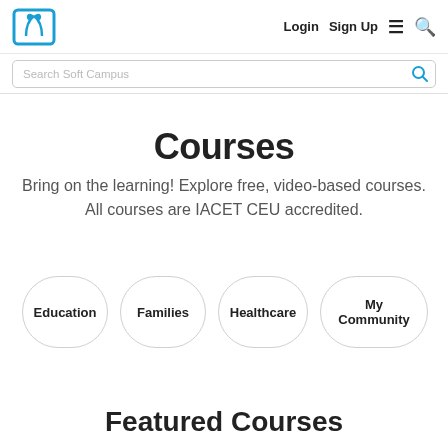Login  Sign Up  ☰  🔍
Search Soft Campus
Courses
Bring on the learning! Explore free, video-based courses. All courses are IACET CEU accredited.
Education
Families
Healthcare
My Community
Featured Courses